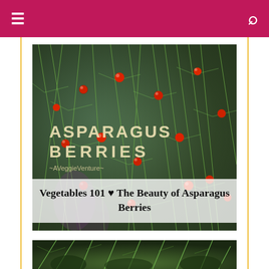≡ [menu icon]   🔍 [search icon]
[Figure (photo): Close-up photo of asparagus plant with red berries on delicate green fronds, with 'ASPARAGUS BERRIES ~AVeggieVenture~' text overlay in the upper left.]
Vegetables 101 ♥ The Beauty of Asparagus Berries
[Figure (photo): Bottom partial photo showing green asparagus fronds with dark background.]